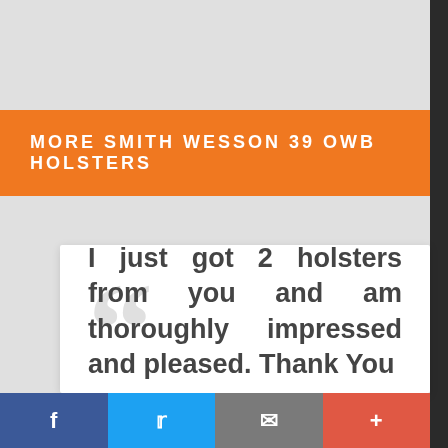MORE SMITH WESSON 39 OWB HOLSTERS
I just got 2 holsters from you and am thoroughly impressed and pleased. Thank You
[Figure (other): Social media share bar with Facebook, Twitter, email, and plus buttons]